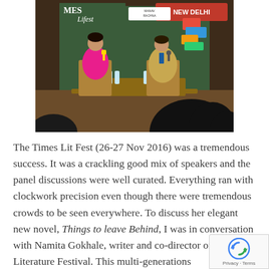[Figure (photo): Two women seated on stage at the Times Lit Fest event. One woman in pink attire holding a microphone and papers, another in golden/beige outfit with a lanyard. Stage backdrop shows stylized books and 'Times Lit Fest' / 'Manav Rachna' branding. Silhouette of audience visible in foreground.]
The Times Lit Fest (26-27 Nov 2016) was a tremendous success. It was a crackling good mix of speakers and the panel discussions were well curated. Everything ran with clockwork precision even though there were tremendous crowds to be seen everywhere. To discuss her elegant new novel, Things to leave Behind, I was in conversation with Namita Gokhale, writer and co-director of Jaipur Literature Festival. This multi-generations